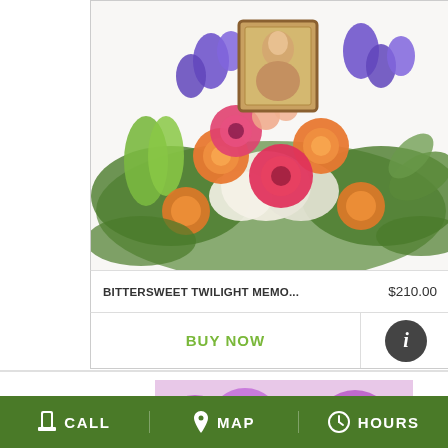[Figure (photo): Floral arrangement photo: orange roses, pink gerbera daisies, purple iris, white hydrangea with a framed portrait photo in the center, for memorial/sympathy use.]
BITTERSWEET TWILIGHT MEMO...
$210.00
BUY NOW
[Figure (photo): Close-up of a mixed purple and orange floral arrangement with the word 'custom' overlaid in green italic script.]
CALL  MAP  HOURS